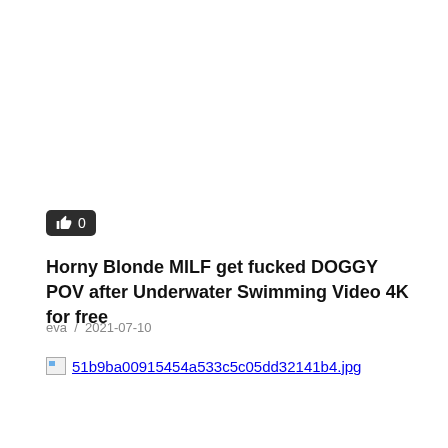[Figure (other): Like button with thumbs-up icon showing count 0]
Horny Blonde MILF get fucked DOGGY POV after Underwater Swimming Video 4K for free
eva / 2021-07-10
[Figure (other): Broken image placeholder with filename 51b9ba00915454a533c5c05dd32141b4.jpg]